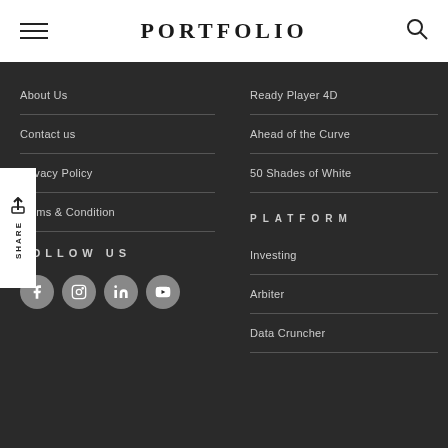PORTFOLIO
About Us
Contact us
Privacy Policy
Terms & Condition
FOLLOW US
Ready Player 4D
Ahead of the Curve
50 Shades of White
PLATFORM
Investing
Arbiter
Data Cruncher